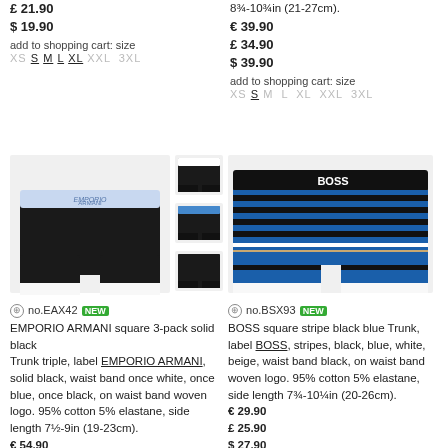£ 21.90
$ 19.90
add to shopping cart: size
XS S M L XL XXL 3XL
8¾-10¾in (21-27cm).
€ 39.90
£ 34.90
$ 39.90
add to shopping cart: size
XS S M L XL XXL 3XL
[Figure (photo): Emporio Armani 3-pack solid black trunks with blue/white/black waistbands, plus three thumbnail views]
no.EAX42 NEW
EMPORIO ARMANI square 3-pack solid black
Trunk triple, label EMPORIO ARMANI, solid black, waist band once white, once blue, once black, on waist band woven logo. 95% cotton 5% elastane, side length 7½-9in (19-23cm).
€ 54.90
£ 46.90
$ 51.90
add to shopping cart: size
[Figure (photo): BOSS square stripe black blue trunk with horizontal blue/black/white/beige stripes and black BOSS waistband]
no.BSX93 NEW
BOSS square stripe black blue Trunk, label BOSS, stripes, black, blue, white, beige, waist band black, on waist band woven logo. 95% cotton 5% elastane, side length 7¾-10¼in (20-26cm).
€ 29.90
£ 25.90
$ 27.90
add to shopping cart: size
XS S M L XL XXL 3XL